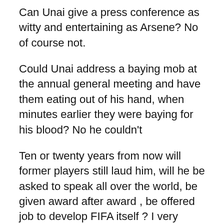Can Unai give a press conference as witty and entertaining as Arsene? No of course not.
Could Unai address a baying mob at the annual general meeting and have them eating out of his hand, when minutes earlier they were baying for his blood? No he couldn’t
Ten or twenty years from now will former players still laud him, will he be asked to speak all over the world, be given award after award , be offered job to develop FIFA itself ? I very much doubt that.
Will Unai transform the club and elevate it to once unthought of heights? No, not a chance.
Is it fair to expect any of these things from Mr. Emery? No it is not. Why? Because it’s unfair to expect anyone to fill